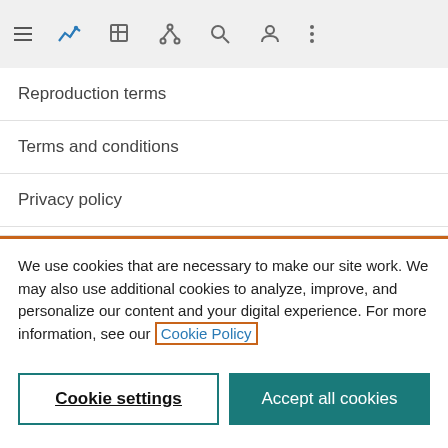[Figure (screenshot): Mobile browser toolbar with hamburger menu, chart/analytics icon (active, blue), edit icon, share/network icon, search icon, person/account icon, and vertical ellipsis menu icon on a light grey background.]
Reproduction terms
Terms and conditions
Privacy policy
We use cookies that are necessary to make our site work. We may also use additional cookies to analyze, improve, and personalize our content and your digital experience. For more information, see our Cookie Policy
Cookie settings
Accept all cookies